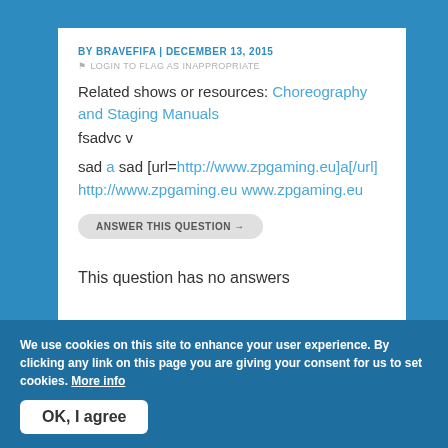BY BRAVEFIFA | DECEMBER 13, 2015
LOGIN TO FLAG AS INAPPROPRIATE
Related shows or resources: Choreography and Staging Manuals
fsadvc v
sad a sad [url=http://www.zpgaming.eu]a[/url] http://www.zpgaming.eu www.zpgaming.eu
ANSWER THIS QUESTION →
This question has no answers
We use cookies on this site to enhance your user experience. By clicking any link on this page you are giving your consent for us to set cookies. More info
OK, I agree